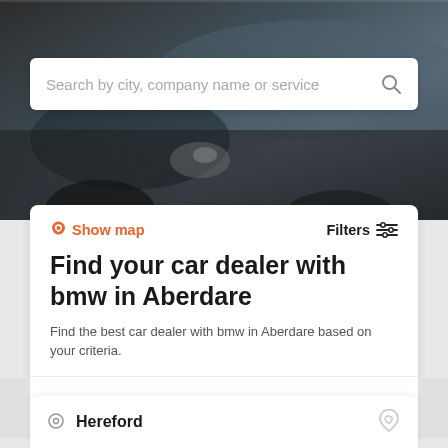[Figure (photo): Hero background photo of car interior/exterior with dark metallic tones]
Search by city, company name or service
Show map
Filters
Find your car dealer with bmw in Aberdare
Find the best car dealer with bmw in Aberdare based on your criteria.
Add your company
It's free →
Hereford